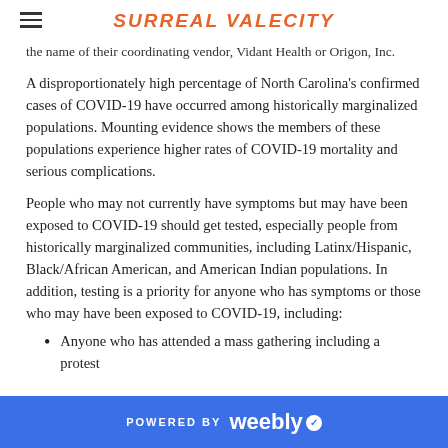SURREAL VALECITY
the name of their coordinating vendor, Vidant Health or Origon, Inc.
A disproportionately high percentage of North Carolina's confirmed cases of COVID-19 have occurred among historically marginalized populations. Mounting evidence shows the members of these populations experience higher rates of COVID-19 mortality and serious complications.
People who may not currently have symptoms but may have been exposed to COVID-19 should get tested, especially people from historically marginalized communities, including Latinx/Hispanic, Black/African American, and American Indian populations. In addition, testing is a priority for anyone who has symptoms or those who may have been exposed to COVID-19, including:
Anyone who has attended a mass gathering including a protest
POWERED BY weebly